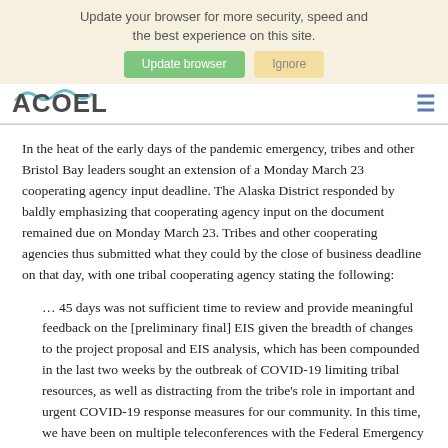Update your browser for more security, speed and the best experience on this site.
In the heat of the early days of the pandemic emergency, tribes and other Bristol Bay leaders sought an extension of a Monday March 23 cooperating agency input deadline.  The Alaska District responded by baldly emphasizing that cooperating agency input on the document remained due on Monday March 23.  Tribes and other cooperating agencies thus submitted what they could by the close of business deadline on that day, with one tribal cooperating agency stating the following:
… 45 days was not sufficient time to review and provide meaningful feedback on the [preliminary final] EIS given the breadth of changes to the project proposal and EIS analysis, which has been compounded in the last two weeks by the outbreak of COVID-19 limiting tribal resources, as well as distracting from the tribe's role in important and urgent COVID-19 response measures for our community.  In this time, we have been on multiple teleconferences with the Federal Emergency Management Agency, Health and Human Services, Indian Health Services, Bureau of Indian Affairs, state, military and municipal partners, tribal health care organizations, and others. We have crafted and adopted emergency plans and have been allocating our tribal resources to these activities.